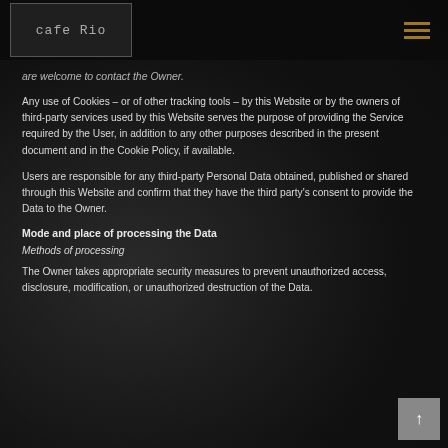Cafe Rio logo and navigation menu
are welcome to contact the Owner.
Any use of Cookies – or of other tracking tools – by this Website or by the owners of third-party services used by this Website serves the purpose of providing the Service required by the User, in addition to any other purposes described in the present document and in the Cookie Policy, if available.
Users are responsible for any third-party Personal Data obtained, published or shared through this Website and confirm that they have the third party's consent to provide the Data to the Owner.
Mode and place of processing the Data
Methods of processing
The Owner takes appropriate security measures to prevent unauthorized access, disclosure, modification, or unauthorized destruction of the Data.